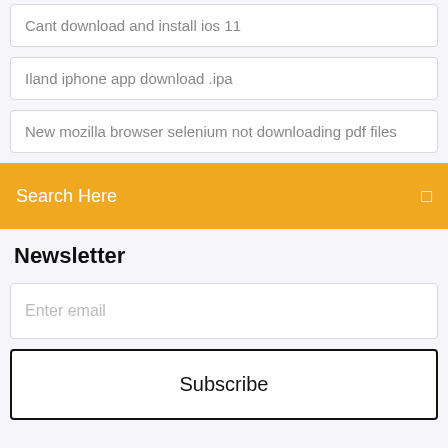Cant download and install ios 11
Iland iphone app download .ipa
New mozilla browser selenium not downloading pdf files
Search Here
Newsletter
Enter email
Subscribe